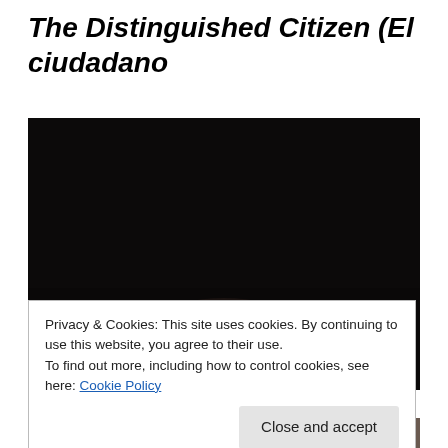The Distinguished Citizen (El ciudadano ilustre)
[Figure (photo): Dark cinematic movie scene showing the top of a person's head with dark hair against a very dark/black background. A red laser crosshair/target dot is visible on their forehead.]
Privacy & Cookies: This site uses cookies. By continuing to use this website, you agree to their use.
To find out more, including how to control cookies, see here: Cookie Policy
Close and accept